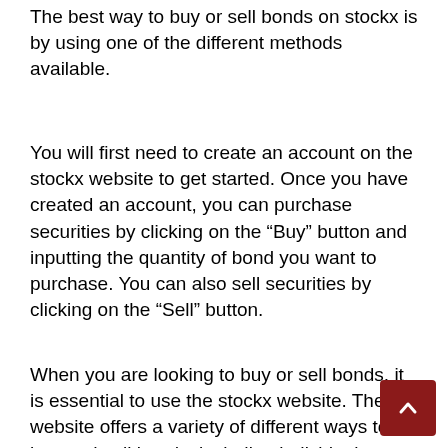The best way to buy or sell bonds on stockx is by using one of the different methods available.
You will first need to create an account on the stockx website to get started. Once you have created an account, you can purchase securities by clicking on the “Buy” button and inputting the quantity of bond you want to purchase. You can also sell securities by clicking on the “Sell” button.
When you are looking to buy or sell bonds, it is essential to use the stockx website. The website offers a variety of different ways to buy and sell bonds, including individual securities, issuing bonds through a bond marketplace, and as an individual investor.